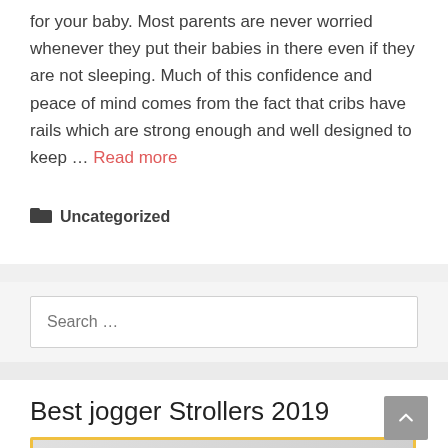for your baby. Most parents are never worried whenever they put their babies in there even if they are not sleeping. Much of this confidence and peace of mind comes from the fact that cribs have rails which are strong enough and well designed to keep … Read more
Uncategorized
Search …
Best jogger Strollers 2019
[Figure (photo): Partially visible image strip with a yellow border showing circular thumbnail images at the bottom of the page]